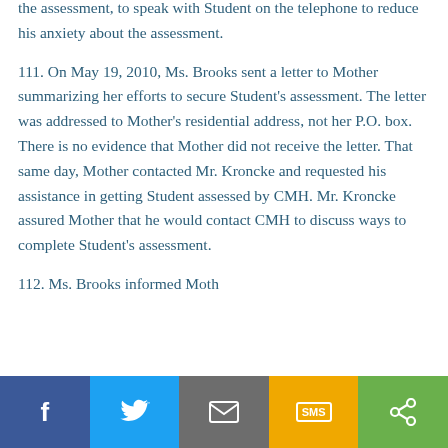the assessment, to speak with Student on the telephone to reduce his anxiety about the assessment.
111. On May 19, 2010, Ms. Brooks sent a letter to Mother summarizing her efforts to secure Student's assessment. The letter was addressed to Mother's residential address, not her P.O. box. There is no evidence that Mother did not receive the letter. That same day, Mother contacted Mr. Kroncke and requested his assistance in getting Student assessed by CMH. Mr. Kroncke assured Mother that he would contact CMH to discuss ways to complete Student's assessment.
112. Ms. Brooks informed Moth...
Facebook | Twitter | Email | SMS | Share